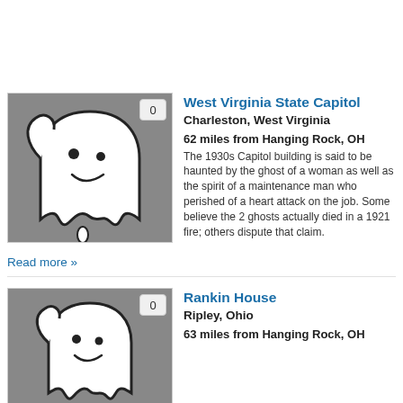[Figure (illustration): Ghost illustration on grey background with badge '0']
West Virginia State Capitol
Charleston, West Virginia
62 miles from Hanging Rock, OH
The 1930s Capitol building is said to be haunted by the ghost of a woman as well as the spirit of a maintenance man who perished of a heart attack on the job. Some believe the 2 ghosts actually died in a 1921 fire; others dispute that claim.
Read more »
[Figure (illustration): Ghost illustration on grey background with badge '0']
Rankin House
Ripley, Ohio
63 miles from Hanging Rock, OH
[Figure (screenshot): BitLife - Life Simulator ad overlay with red background and close button]